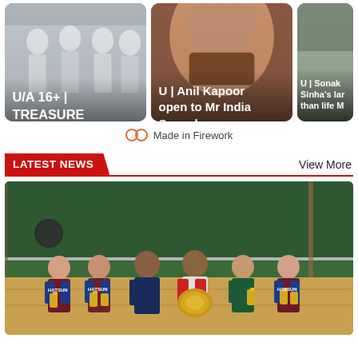[Figure (screenshot): Three video thumbnail cards in a horizontal row. First card: white-suited people with text 'U/A 16+ | TREASURE Confirms Plans...'. Second card: close-up face with text 'U | Anil Kapoor open to Mr India Sequel'. Third card (partially visible): blue/green background with text 'U | Sonaks Sinha's lar than life M'.]
Made in Firework
LATEST NEWS
View More
[Figure (photo): Group photo of six badminton players on a court holding trophies and a large shield/medallion. Players wearing maroon HATSUN jerseys. Badminton net and green wall visible in background.]